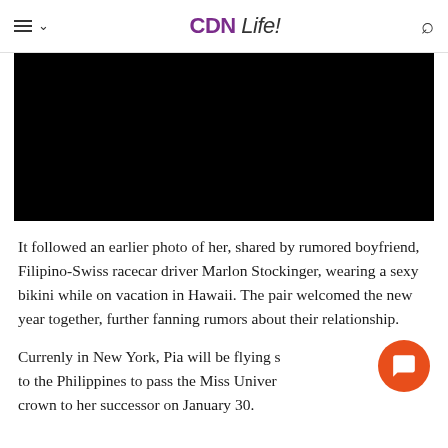CDN Life!
[Figure (photo): A black/dark photo image, content not visible]
It followed an earlier photo of her, shared by rumored boyfriend, Filipino-Swiss racecar driver Marlon Stockinger, wearing a sexy bikini while on vacation in Hawaii. The pair welcomed the new year together, further fanning rumors about their relationship.
Currenly in New York, Pia will be flying s to the Philippines to pass the Miss Univer crown to her successor on January 30.